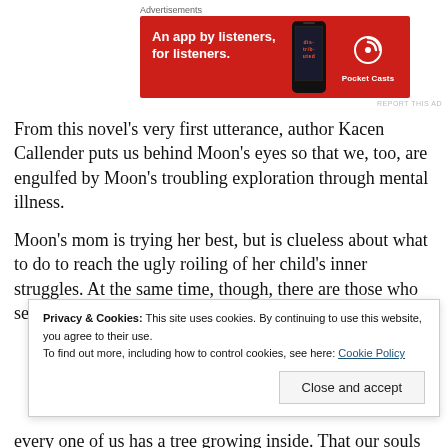Advertisements
[Figure (infographic): Pocket Casts advertisement banner: red background, text 'An app by listeners, for listeners.' with a smartphone graphic and Pocket Casts logo]
REPORT THIS AD
From this novel's very first utterance, author Kacen Callender puts us behind Moon's eyes so that we, too, are engulfed by Moon's troubling exploration through mental illness.
Moon's mom is trying her best, but is clueless about what to do to reach the ugly roiling of her child's inner struggles. At the same time, though, there are those who see Moon for
Privacy & Cookies: This site uses cookies. By continuing to use this website, you agree to their use. To find out more, including how to control cookies, see here: Cookie Policy
every one of us has a tree growing inside. That our souls